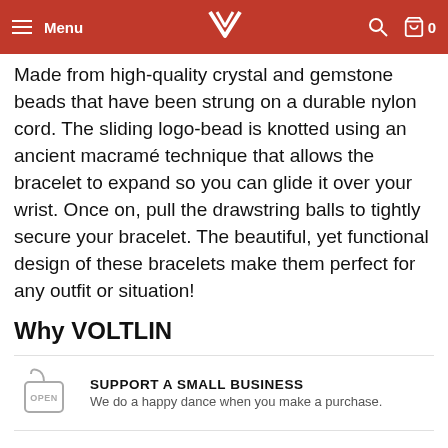Menu | [VOLTLIN logo] | [search] | 0
ideology and transmit it into a tangible item, said to bring transformative qualities to those who wear them
Made from high-quality crystal and gemstone beads that have been strung on a durable nylon cord. The sliding logo-bead is knotted using an ancient macramé technique that allows the bracelet to expand so you can glide it over your wrist. Once on, pull the drawstring balls to tightly secure your bracelet. The beautiful, yet functional design of these bracelets make them perfect for any outfit or situation!
Why VOLTLIN
[Figure (illustration): Open sign hanging icon]
SUPPORT A SMALL BUSINESS
We do a happy dance when you make a purchase.
[Figure (illustration): Happy face with stars emoji/icon]
SATISFACTION GUARANTEED
Over 1,200+ verified 5 star reviews.
[Figure (illustration): Heart with hands donation icon]
EVERY SALE = A DONATION